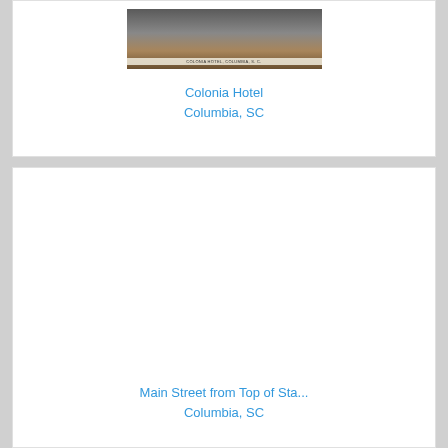[Figure (photo): Black and white photograph of Colonia Hotel in Columbia, SC with caption strip at bottom reading 'COLONIA HOTEL, COLUMBIA, S.C.']
Colonia Hotel
Columbia, SC
[Figure (photo): Empty white area representing a missing or blank photograph for Main Street from Top of Sta... listing]
Main Street from Top of Sta...
Columbia, SC